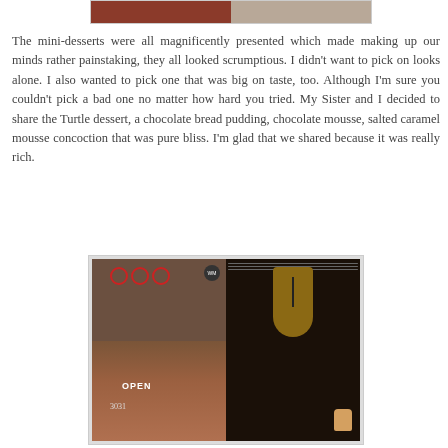[Figure (photo): Partial top photo showing food or desserts, cropped at top of page]
The mini-desserts were all magnificently presented which made making up our minds rather painstaking, they all looked scrumptious. I didn't want to pick on looks alone. I also wanted to pick one that was big on taste, too. Although I'm sure you couldn't pick a bad one no matter how hard you tried. My Sister and I decided to share the Turtle dessert, a chocolate bread pudding, chocolate mousse, salted caramel mousse concoction that was pure bliss. I'm glad that we shared because it was really rich.
[Figure (photo): Two photos side by side: left shows a store exterior with red circular decorations and an OPEN sign, right shows a jewelry necklace display under a glass dome with a small deer figurine]